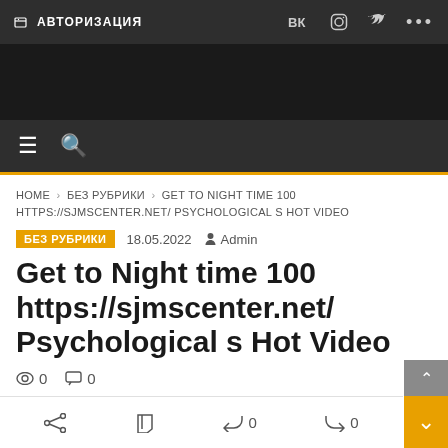АВТОРИЗАЦИЯ
[Figure (screenshot): Dark banner area placeholder]
HOME > БЕЗ РУБРИКИ > GET TO NIGHT TIME 100 HTTPS://SJMSCENTER.NET/ PSYCHOLOGICAL S HOT VIDEO
БЕЗ РУБРИКИ  18.05.2022  Admin
Get to Night time 100 https://sjmscenter.net/ Psychological s Hot Video
👁 0  💬 0